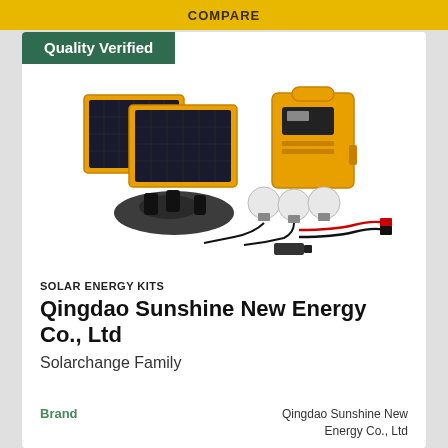COMPARE
Quality Verified
[Figure (photo): Solar energy kit product photo showing two yellow-framed solar panels, a yellow portable battery/generator unit, three white LED light bulbs with cables, various black charging adapters, and red/black clamp cables on a white background.]
SOLAR ENERGY KITS
Qingdao Sunshine New Energy Co., Ltd
Solarchange Family
Brand
Qingdao Sunshine New Energy Co., Ltd